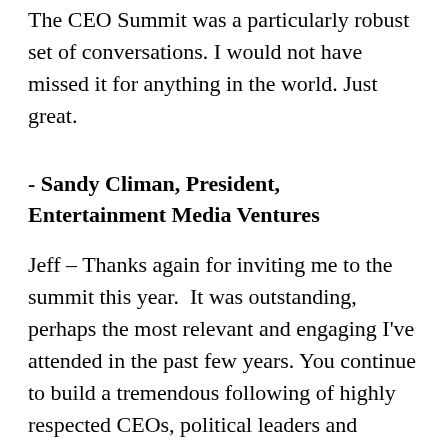The CEO Summit was a particularly robust set of conversations. I would not have missed it for anything in the world. Just great.
- Sandy Climan, President, Entertainment Media Ventures
Jeff – Thanks again for inviting me to the summit this year.  It was outstanding, perhaps the most relevant and engaging I've attended in the past few years. You continue to build a tremendous following of highly respected CEOs, political leaders and scholars. Always a huge treat for me!
- Ron Stewart, President & CEO, PRGX USA
What a great event, stimulating from A to Z. Thank you for including me.